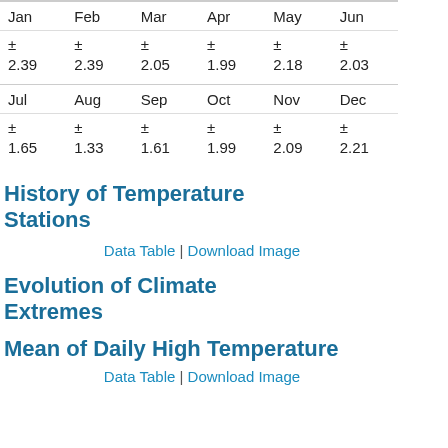| Jan | Feb | Mar | Apr | May | Jun |
| --- | --- | --- | --- | --- | --- |
| ± 2.39 | ± 2.39 | ± 2.05 | ± 1.99 | ± 2.18 | ± 2.03 |
| Jul | Aug | Sep | Oct | Nov | Dec |
| --- | --- | --- | --- | --- | --- |
| ± 1.65 | ± 1.33 | ± 1.61 | ± 1.99 | ± 2.09 | ± 2.21 |
History of Temperature Stations
Data Table | Download Image
Evolution of Climate Extremes
Mean of Daily High Temperature
Data Table | Download Image
ZAMOR...
ZARAGO... (USAFB...
More stations...
Nearby Regions
Morocco
Algeria
Northern Africa
Africa
Northern Hemisph...
Global Land
Dataset